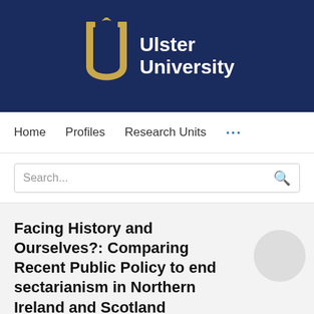[Figure (logo): Ulster University logo — gold stylized U letter with a small bird on top, white text 'Ulster University' on a dark navy blue background]
Home   Profiles   Research Units   ...
Search...
Facing History and Ourselves?: Comparing Recent Public Policy to end sectarianism in Northern Ireland and Scotland
Duncan Morrow